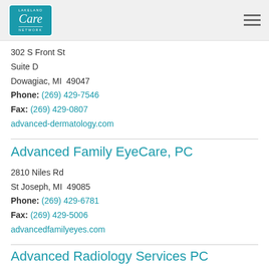[Figure (logo): Lakeland Care Network logo — teal rounded rectangle with 'LAKELAND' text at top, 'Care' in cursive, 'NETWORK' at bottom]
302 S Front St
Suite D
Dowagiac, MI  49047
Phone: (269) 429-7546
Fax: (269) 429-0807
advanced-dermatology.com
Advanced Family EyeCare, PC
2810 Niles Rd
St Joseph, MI  49085
Phone: (269) 429-6781
Fax: (269) 429-5006
advancedfamilyeyes.com
Advanced Radiology Services PC